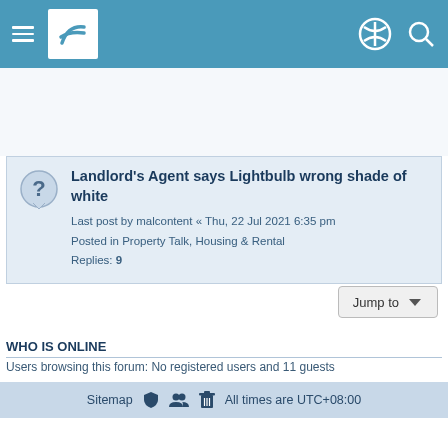Navigation bar with menu, logo, profile and search icons
Landlord's Agent says Lightbulb wrong shade of white
Last post by malcontent « Thu, 22 Jul 2021 6:35 pm
Posted in Property Talk, Housing & Rental
Replies: 9
Jump to
WHO IS ONLINE
Users browsing this forum: No registered users and 11 guests
Sitemap   All times are UTC+08:00